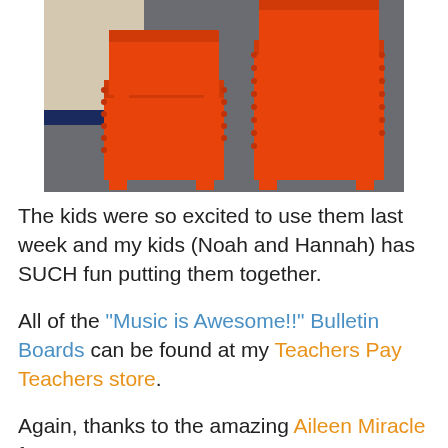[Figure (photo): Orange stackable chairs on gray carpet, two stacks visible]
The kids were so excited to use them last week and my kids (Noah and Hannah) has SUCH fun putting them together.
All of the "Music is Awesome!!" Bulletin Boards can be found at my Teachers Pay Teachers store.
Again, thanks to the amazing Aileen Miracle for